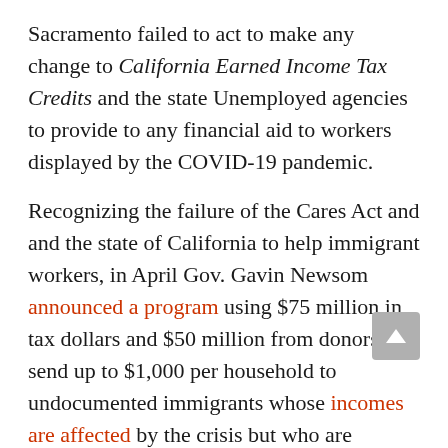Sacramento failed to act to make any change to California Earned Income Tax Credits and the state Unemployed agencies to provide to any financial aid to workers displayed by the COVID-19 pandemic.
Recognizing the failure of the Cares Act and and the state of California to help immigrant workers, in April Gov. Gavin Newsom announced a program using $75 million in tax dollars and $50 million from donors to send up to $1,000 per household to undocumented immigrants whose incomes are affected by the crisis but who are ineligible for unemployment benefits and other support. The $75 million Disaster Relief Assistance for Immigrants fund was to support about 150,000 immigrants affected by loss of income during the COVID-19 pandemic.
Monday was the first official day for undocumented